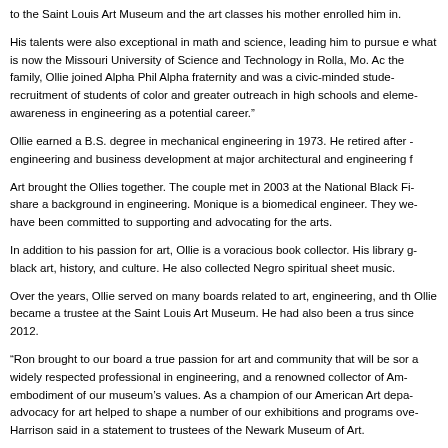to the Saint Louis Art Museum and the art classes his mother enrolled him in.
His talents were also exceptional in math and science, leading him to pursue e... what is now the Missouri University of Science and Technology in Rolla, Mo. Ac... the family, Ollie joined Alpha Phil Alpha fraternity and was a civic-minded stude... recruitment of students of color and greater outreach in high schools and eleme... awareness in engineering as a potential career."
Ollie earned a B.S. degree in mechanical engineering in 1973. He retired after ... engineering and business development at major architectural and engineering f...
Art brought the Ollies together. The couple met in 2003 at the National Black Fi... share a background in engineering. Monique is a biomedical engineer. They we... have been committed to supporting and advocating for the arts.
In addition to his passion for art, Ollie is a voracious book collector. His library g... black art, history, and culture. He also collected Negro spiritual sheet music.
Over the years, Ollie served on many boards related to art, engineering, and th... Ollie became a trustee at the Saint Louis Art Museum. He had also been a trus... since 2012.
“Ron brought to our board a true passion for art and community that will be sor... a widely respected professional in engineering, and a renowned collector of Am... embodiment of our museum’s values. As a champion of our American Art depa... advocacy for art helped to shape a number of our exhibitions and programs ove... Harrison said in a statement to trustees of the Newark Museum of Art.